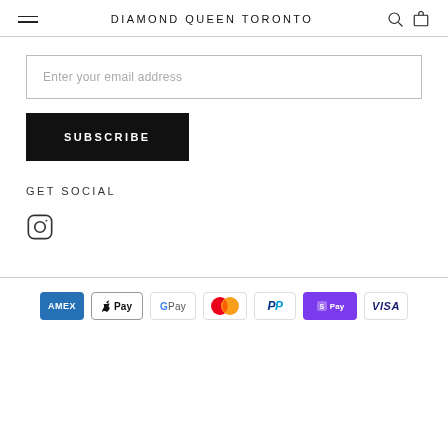DIAMOND QUEEN TORONTO
Enter your email address
SUBSCRIBE
GET SOCIAL
[Figure (logo): Instagram icon]
Payment icons: AMEX, Apple Pay, G Pay, Mastercard, PayPal, Shop Pay, Visa